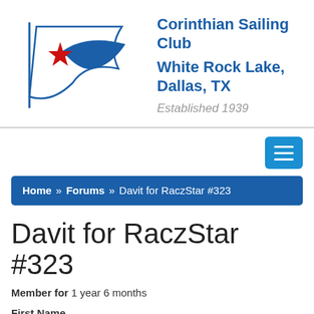[Figure (logo): Corinthian Sailing Club logo: a white flag with a red star and blue wave/wind shape, outlined in blue]
Corinthian Sailing Club
White Rock Lake, Dallas, TX
Established 1939
[Figure (other): Hamburger menu button (three horizontal white lines on blue background)]
Home » Forums » Davit for RaczStar #323
Davit for RaczStar #323
Member for 1 year 6 months
First Name
Gabor